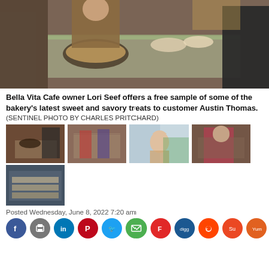[Figure (photo): Main photo of Bella Vita Cafe owner Lori Seef offering free samples at a bakery counter to customer Austin Thomas]
Bella Vita Cafe owner Lori Seef offers a free sample of some of the bakery's latest sweet and savory treats to customer Austin Thomas.
(SENTINEL PHOTO BY CHARLES PRITCHARD)
[Figure (photo): Thumbnail 1: cafe counter scene]
[Figure (photo): Thumbnail 2: people at bakery display case]
[Figure (photo): Thumbnail 3: woman sitting at cafe table]
[Figure (photo): Thumbnail 4: person in pink shirt at counter]
[Figure (photo): Thumbnail 5: pastries on shelf]
Posted Wednesday, June 8, 2022 7:20 am
[Figure (other): Social sharing icons: Facebook, Print, LinkedIn, Pinterest, Twitter, Email, Flipboard, Digg, Reddit, StumbleUpon, Yummly]